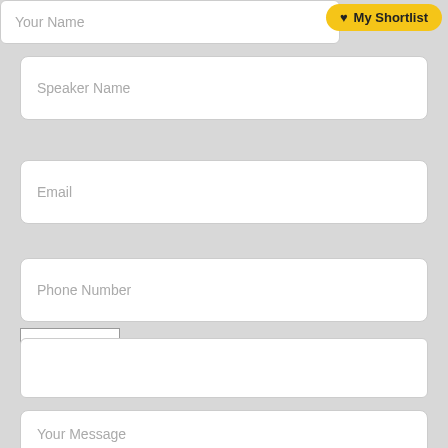Your Name
[Figure (screenshot): My Shortlist button with heart icon, yellow rounded pill button]
Speaker Name
Email
Phone Number
[Figure (other): CAPTCHA image showing text: P 2 S V]
Your Message